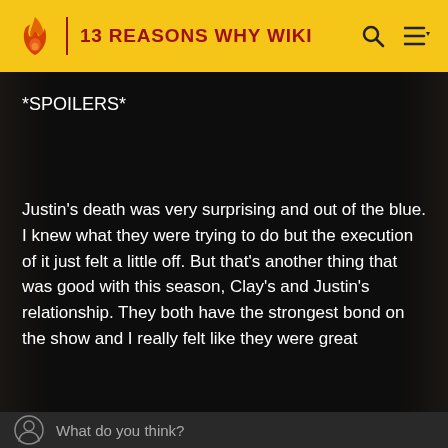13 REASONS WHY WIKI
*SPOILERS*
Justin's death was very surprising and out of the blue. I knew what they were trying to do but the execution of it just felt a little off. But that's another thing that was good with this season, Clay's and Justin's relationship. They both have the strongest bond on the show and I really felt like they were great
What do you think?